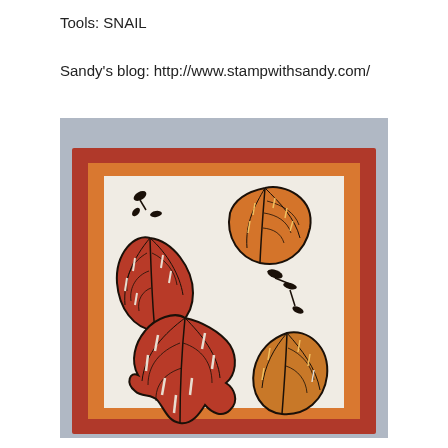Tools: SNAIL
Sandy's blog: http://www.stampwithsandy.com/
[Figure (photo): Photo of a handmade stamped card with autumn leaves. The card has a dark red outer border, an orange inner border, and a cream/white center panel stamped with fall leaves in red/rust and orange colors with black outlines, plus small dark maple seed (samara) pods. The card is photographed at a slight angle against a gray background.]